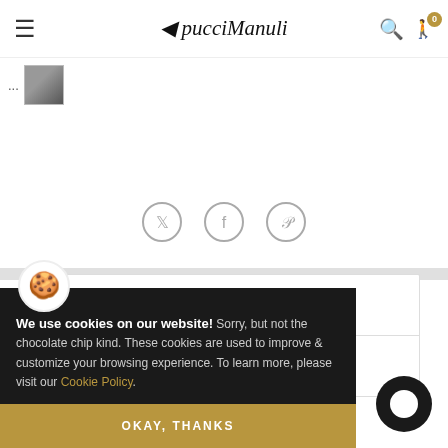≡  pucciManuli  🔍 🚶 0
[Figure (screenshot): Thumbnail image strip with ellipsis and small product image]
[Figure (illustration): Three social media icons: Twitter, Facebook, Pinterest in gray circles]
Description
Dimensions
[Figure (illustration): Cookie consent popup overlay with cookie emoji, text, and OKAY THANKS button]
Who will you be when you are grown?